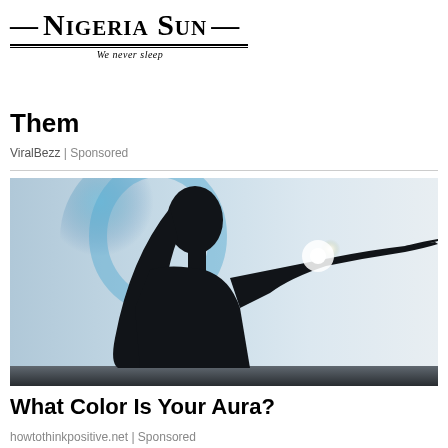Nigeria Sun — We never sleep
Them
ViralBezz | Sponsored
[Figure (photo): Silhouette of a woman facing right, with blue aura/glow around her head and hair, holding up her hand with a bright glowing orb of light resting on her palm, against a light grey background.]
What Color Is Your Aura?
howtothinkpositive.net | Sponsored